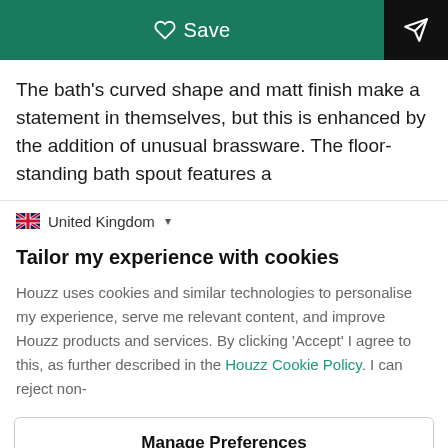[Figure (screenshot): Green Save button with heart icon and black share/send button on right]
The bath's curved shape and matt finish make a statement in themselves, but this is enhanced by the addition of unusual brassware. The floor-standing bath spout features a
🇬🇧 United Kingdom ▾
Tailor my experience with cookies
Houzz uses cookies and similar technologies to personalise my experience, serve me relevant content, and improve Houzz products and services. By clicking 'Accept' I agree to this, as further described in the Houzz Cookie Policy. I can reject non-
Manage Preferences
Accept